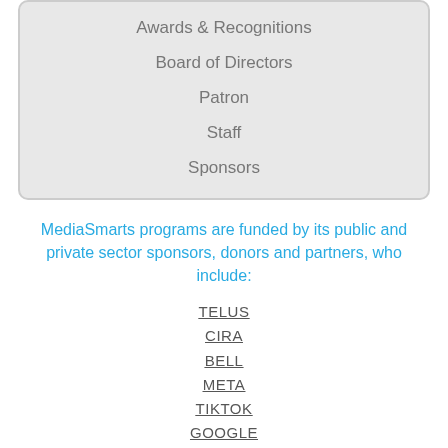Awards & Recognitions
Board of Directors
Patron
Staff
Sponsors
MediaSmarts programs are funded by its public and private sector sponsors, donors and partners, who include:
TELUS
CIRA
BELL
META
TIKTOK
GOOGLE
NFB